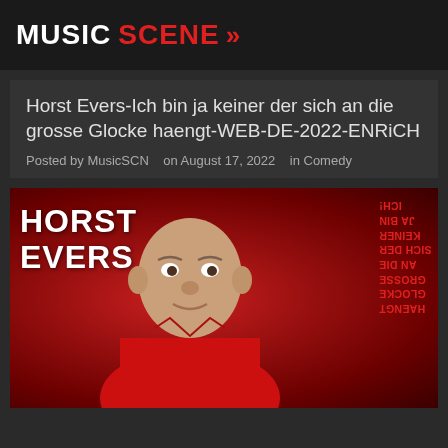MUSIC SCENE >>
Horst Evers-Ich bin ja keiner der sich an die grosse Glocke haengt-WEB-DE-2022-ENRiCH
Posted by MusicSCN   on August 17, 2022   in Comedy
[Figure (photo): Album cover for Horst Evers showing a bald man in a red shirt against a red background, with 'HORST EVERS' text on the left and mirrored/upside-down text on the right reading 'ICH BIN JA KEINER DER SICH AN DIE GROSSE GLOCKE HAENGT']